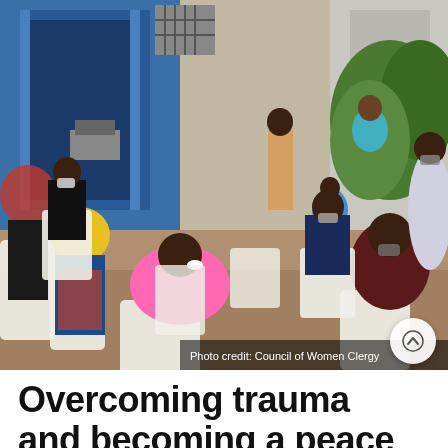[Figure (photo): A group of women seated in a circle of white plastic chairs outdoors, in front of a blue metal building. One woman stands in the center addressing the group. Several women wear face masks. Women are dressed in colorful clothing including pink, green, and patterned fabrics. The setting appears to be an informal outdoor meeting or community gathering in Africa.]
Photo credit: Council of Women Clergy
Overcoming trauma and becoming a peace